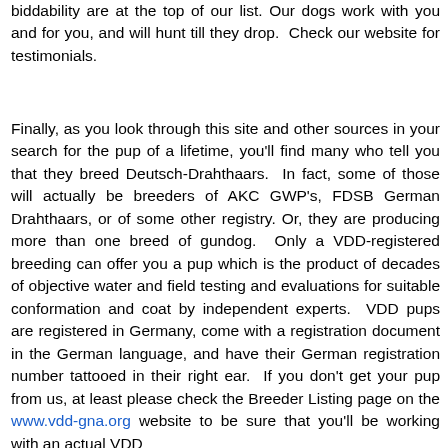biddability are at the top of our list. Our dogs work with you and for you, and will hunt till they drop. Check our website for testimonials.
Finally, as you look through this site and other sources in your search for the pup of a lifetime, you'll find many who tell you that they breed Deutsch-Drahthaars. In fact, some of those will actually be breeders of AKC GWP's, FDSB German Drahthaars, or of some other registry. Or, they are producing more than one breed of gundog. Only a VDD-registered breeding can offer you a pup which is the product of decades of objective water and field testing and evaluations for suitable conformation and coat by independent experts. VDD pups are registered in Germany, come with a registration document in the German language, and have their German registration number tattooed in their right ear. If you don't get your pup from us, at least please check the Breeder Listing page on the www.vdd-gna.org website to be sure that you'll be working with an actual VDD